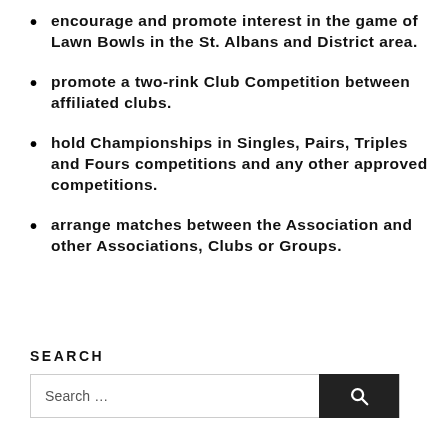encourage and promote interest in the game of Lawn Bowls in the St. Albans and District area.
promote a two-rink Club Competition between affiliated clubs.
hold Championships in Singles, Pairs, Triples and Fours competitions and any other approved competitions.
arrange matches between the Association and other Associations, Clubs or Groups.
SEARCH